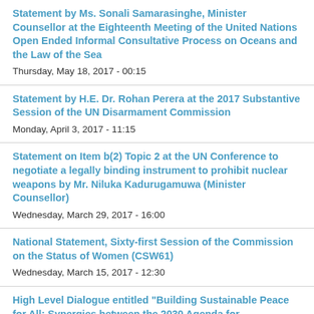Statement by Ms. Sonali Samarasinghe, Minister Counsellor at the Eighteenth Meeting of the United Nations Open Ended Informal Consultative Process on Oceans and the Law of the Sea
Thursday, May 18, 2017 - 00:15
Statement by H.E. Dr. Rohan Perera at the 2017 Substantive Session of the UN Disarmament Commission
Monday, April 3, 2017 - 11:15
Statement on Item b(2) Topic 2 at the UN Conference to negotiate a legally binding instrument to prohibit nuclear weapons by Mr. Niluka Kadurugamuwa (Minister Counsellor)
Wednesday, March 29, 2017 - 16:00
National Statement, Sixty-first Session of the Commission on the Status of Women (CSW61)
Wednesday, March 15, 2017 - 12:30
High Level Dialogue entitled "Building Sustainable Peace for All: Synergies between the 2030 Agenda for